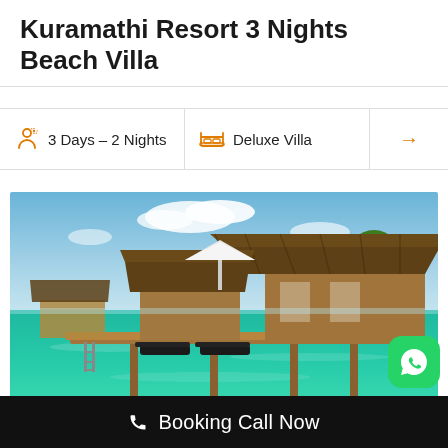Kuramathi Resort 3 Nights Beach Villa
3 Days – 2 Nights
Deluxe Villa
[Figure (photo): Overwater bungalows at a tropical resort with thatched roofs, wooden decks with lounge chairs, turquoise clear water, and lush green trees in the background under a blue sky.]
Booking Call Now